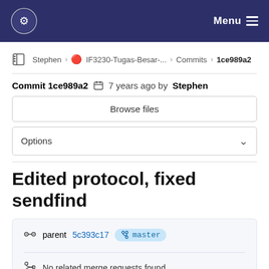Menu
Stephen > IF3230-Tugas-Besar-... > Commits > 1ce989a2
Commit 1ce989a2  7 years ago by Stephen
Browse files
Options
Edited protocol, fixed sendfind
parent 5c393c17  master
No related merge requests found